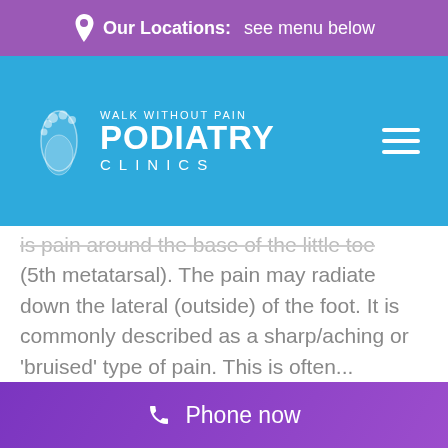Our Locations: see menu below
[Figure (logo): Walk Without Pain Podiatry Clinics logo on blue navigation bar with hamburger menu icon]
is pain around the base of the little toe (5th metatarsal). The pain may radiate down the lateral (outside) of the foot. It is commonly described as a sharp/aching or 'bruised' type of pain. This is often...
Phone now